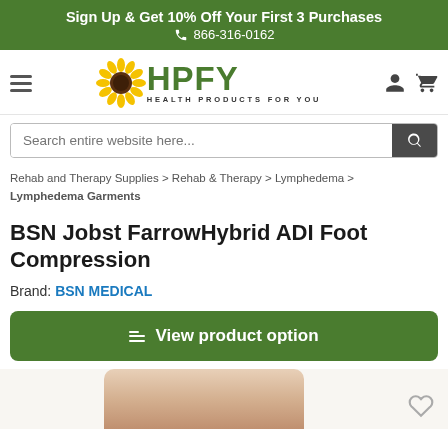Sign Up & Get 10% Off Your First 3 Purchases
☎ 866-316-0162
[Figure (logo): HPFY Health Products For You logo with sunflower icon]
Search entire website here...
Rehab and Therapy Supplies > Rehab & Therapy > Lymphedema > Lymphedema Garments
BSN Jobst FarrowHybrid ADI Foot Compression
Brand: BSN MEDICAL
View product option
[Figure (photo): Partial product image of foot compression garment at bottom of page]